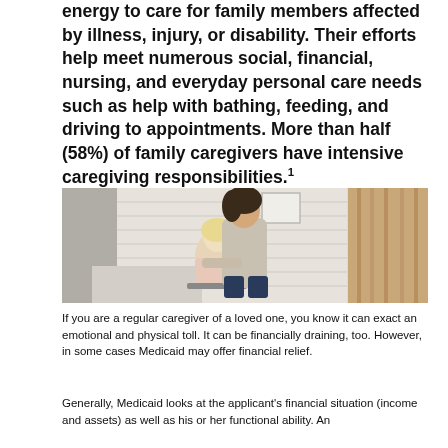energy to care for family members affected by illness, injury, or disability. Their efforts help meet numerous social, financial, nursing, and everyday personal care needs such as help with bathing, feeding, and driving to appointments. More than half (58%) of family caregivers have intensive caregiving responsibilities.[1]
[Figure (photo): A smiling young woman with dark hair assists an older blonde woman in a wheelchair inside a bright room with white brick walls. The caregiver is leaning over the older woman with a caring expression.]
If you are a regular caregiver of a loved one, you know it can exact an emotional and physical toll. It can be financially draining, too. However, in some cases Medicaid may offer financial relief.
Generally, Medicaid looks at the applicant's financial situation (income and assets) as well as his or her functional ability. An